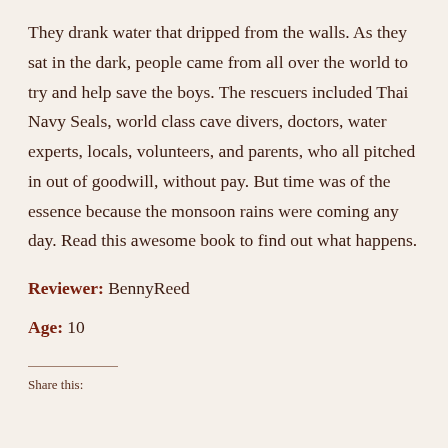They drank water that dripped from the walls. As they sat in the dark, people came from all over the world to try and help save the boys. The rescuers included Thai Navy Seals, world class cave divers, doctors, water experts, locals, volunteers, and parents, who all pitched in out of goodwill, without pay. But time was of the essence because the monsoon rains were coming any day. Read this awesome book to find out what happens.
Reviewer: BennyReed
Age: 10
Share this: